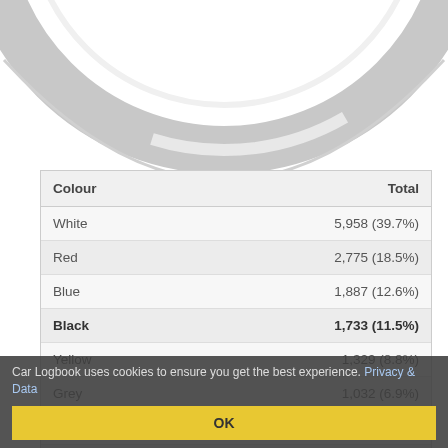[Figure (donut-chart): Partial donut/ring chart visible at top of page, shown in grayscale/silver tones, cropped — only the bottom portion of the ring is visible.]
| Colour | Total |
| --- | --- |
| White | 5,958 (39.7%) |
| Red | 2,775 (18.5%) |
| Blue | 1,887 (12.6%) |
| Black | 1,733 (11.5%) |
| Yellow | 1,329 (8.8%) |
| Grey | 1,032 (6.9%) |
| Bronze | 173 (1.2%) |
| Silver | 121 (0.8%) |
| Brown | 3 (0.0%) |
| Multi-colour | 2 (0.0%) |
| Beige | 2 (0.0%) |
Car Logbook uses cookies to ensure you get the best experience. Privacy & Data
OK